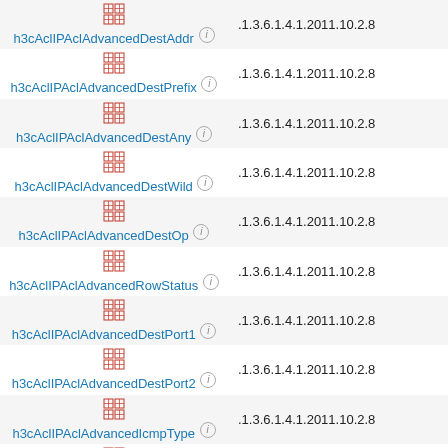| Name | OID |
| --- | --- |
| h3cAclIPAclAdvancedDestAddr | .1.3.6.1.4.1.2011.10.2.8… |
| h3cAclIPAclAdvancedDestPrefix | .1.3.6.1.4.1.2011.10.2.8… |
| h3cAclIPAclAdvancedDestAny | .1.3.6.1.4.1.2011.10.2.8… |
| h3cAclIPAclAdvancedDestWild | .1.3.6.1.4.1.2011.10.2.8… |
| h3cAclIPAclAdvancedDestOp | .1.3.6.1.4.1.2011.10.2.8… |
| h3cAclIPAclAdvancedRowStatus | .1.3.6.1.4.1.2011.10.2.8… |
| h3cAclIPAclAdvancedDestPort1 | .1.3.6.1.4.1.2011.10.2.8… |
| h3cAclIPAclAdvancedDestPort2 | .1.3.6.1.4.1.2011.10.2.8… |
| h3cAclIPAclAdvancedIcmpType | .1.3.6.1.4.1.2011.10.2.8… |
| h3cAclIPAclAdvancedIcmpCode | .1.3.6.1.4.1.2011.10.2.8… |